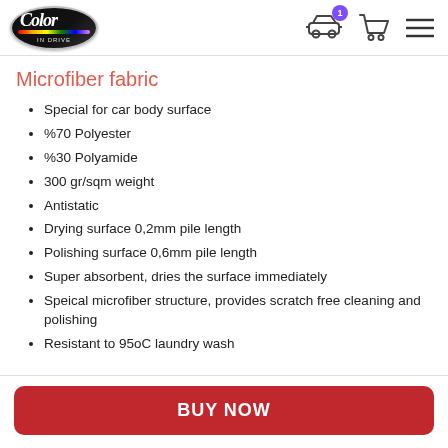Color In Drive — navigation header with logo and icons
Microfiber fabric
Special for car body surface
%70 Polyester
%30 Polyamide
300 gr/sqm weight
Antistatic
Drying surface 0,2mm pile length
Polishing surface 0,6mm pile length
Super absorbent, dries the surface immediately
Speical microfiber structure, provides scratch free cleaning and polishing
Resistant to 95oC laundry wash
BUY NOW